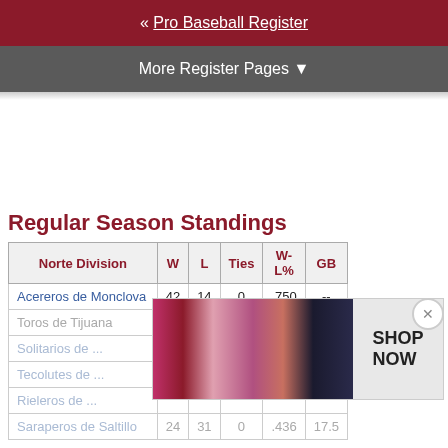« Pro Baseball Register
More Register Pages ▼
Regular Season Standings
| Norte Division | W | L | Ties | W-L% | GB |
| --- | --- | --- | --- | --- | --- |
| Acereros de Monclova | 42 | 14 | 0 | .750 | -- |
| Toros de Tijuana | 35 | 21 | 0 | .625 | 7 |
| Solitarios de ... | 34 | 28 | 0 | .390 | 14.5 |
| Tecolotes de ... |  |  |  |  |  |
| Rieleros de ... |  |  |  |  |  |
| Saraperos de Saltillo | 24 | 31 | 0 | .436 | 17.5 |